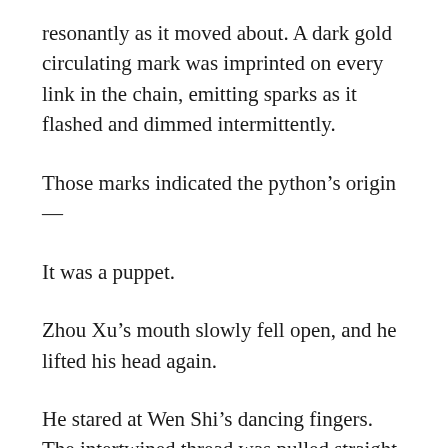resonantly as it moved about. A dark gold circulating mark was imprinted on every link in the chain, emitting sparks as it flashed and dimmed intermittently.
Those marks indicated the python's origin—
It was a puppet.
Zhou Xu's mouth slowly fell open, and he lifted his head again.
He stared at Wen Shi's dancing fingers. The intertwined thread was pulled straight and unyielding between them, tightening and